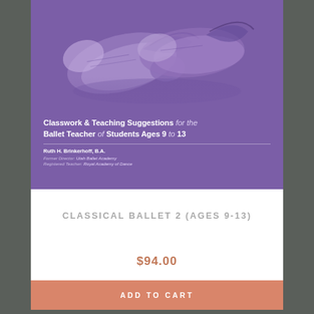[Figure (illustration): Book cover with purple background showing a sketch of ballet shoes at the top. Text reads: 'Classwork & Teaching Suggestions for the Ballet Teacher of Students Ages 9 to 13' by Ruth H. Brinkerhoff, B.A., Former Director: Utah Ballet Academy, Registered Teacher: Royal Academy of Dance]
CLASSICAL BALLET 2 (AGES 9-13)
$94.00
ADD TO CART
[Figure (illustration): Partial view of a second book cover with yellow background showing piano keys on the left and text 'For Young Ballet Arts Children' with a white diagonal shape]